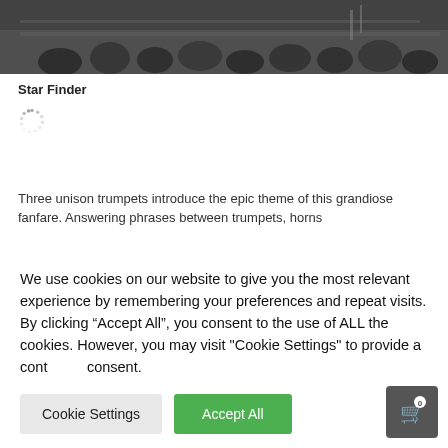[Figure (photo): Black and white photo of people seated, likely an audience or orchestra, viewed from above/behind]
Star Finder
[Figure (other): Loading spinner animation (circular dots)]
Three unison trumpets introduce the epic theme of this grandiose fanfare. Answering phrases between trumpets, horns
We use cookies on our website to give you the most relevant experience by remembering your preferences and repeat visits. By clicking “Accept All”, you consent to the use of ALL the cookies. However, you may visit "Cookie Settings" to provide a controlled consent.
Cookie Settings | Accept All